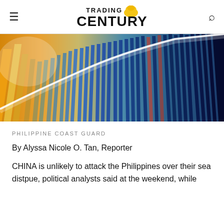TRADING CENTURY
[Figure (photo): Close-up photo of colorful bar chart bars, orange/yellow on left fading to blue, with a white rising line overlay, representing financial market data visualization.]
PHILIPPINE COAST GUARD
By Alyssa Nicole O. Tan, Reporter
CHINA is unlikely to attack the Philippines over their sea distpue, political analysts said at the weekend, while